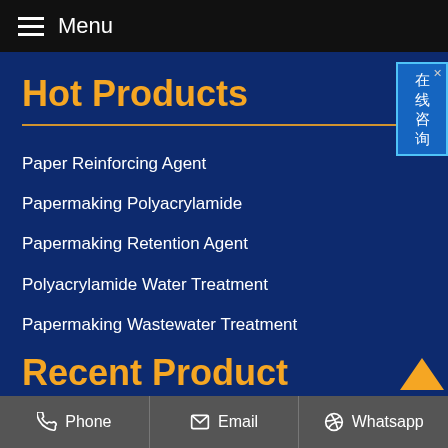Menu
Hot Products
Paper Reinforcing Agent
Papermaking Polyacrylamide
Papermaking Retention Agent
Polyacrylamide Water Treatment
Papermaking Wastewater Treatment
Recent Product
Phone   Email   Whatsapp